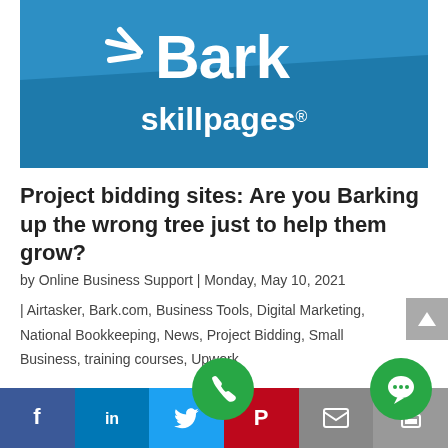[Figure (logo): Bark / skillpages logo on blue background]
Project bidding sites: Are you Barking up the wrong tree just to help them grow?
by Online Business Support | Monday, May 10, 2021
| Airtasker, Bark.com, Business Tools, Digital Marketing, National Bookkeeping, News, Project Bidding, Small Business, training courses, Upwork
A lot of attention is being given to middle m